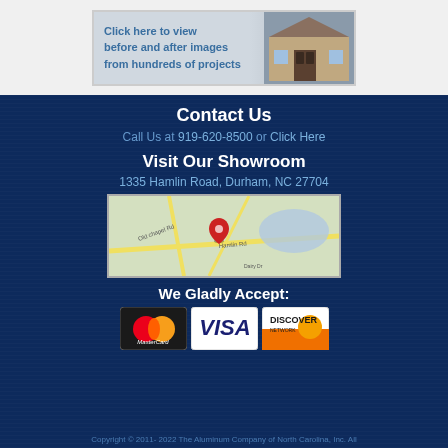[Figure (photo): Banner image with text 'Click here to view before and after images from hundreds of projects' with a house photo on the right]
Contact Us
Call Us at 919-620-8500 or Click Here
Visit Our Showroom
1335 Hamlin Road, Durham, NC 27704
[Figure (map): Google map showing location near Hamlin Road, Durham NC with red pin marker]
We Gladly Accept:
[Figure (logo): Payment logos: MasterCard, VISA, Discover Network]
Copyright © 2011- 2022 The Aluminum Company of North Carolina, Inc. All